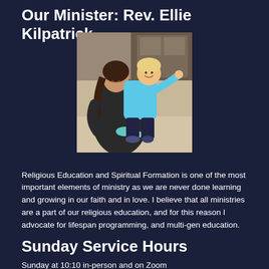Our Minister: Rev. Ellie Kilpatrick
[Figure (photo): Photo of Rev. Ellie Kilpatrick holding a smiling toddler in a light blue shirt. She is wearing a dark jacket and smiling.]
Religious Education and Spiritual Formation is one of the most important elements of ministry as we are never done learning and growing in our faith and in love. I believe that all ministries are a part of our religious education, and for this reason I advocate for lifespan programming, and multi-gen education.
Sunday Service Hours
Sunday at 10:10 in-person and on Zoom